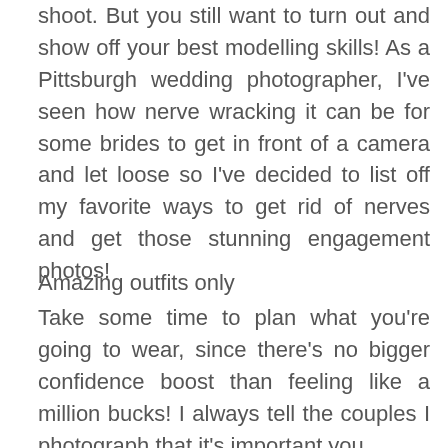shoot. But you still want to turn out and show off your best modelling skills! As a Pittsburgh wedding photographer, I've seen how nerve wracking it can be for some brides to get in front of a camera and let loose so I've decided to list off my favorite ways to get rid of nerves and get those stunning engagement photos!
Amazing outfits only
Take some time to plan what you're going to wear, since there's no bigger confidence boost than feeling like a million bucks! I always tell the couples I photograph that it's important you